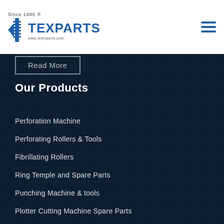RK Texparts — Since 1985
Read More
Our Products
Perforation Machine
Perforating Rollers & Tools
Fibrillating Rollers
Ring Temple and Spare Parts
Punching Machine & tools
Plotter Cutting Machine Spare Parts
Quick Links
Products
Certificates